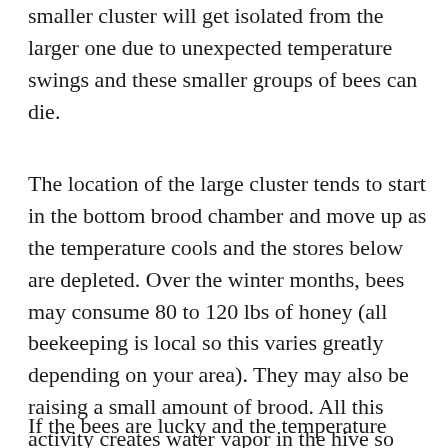rejoining the larger cluster is not easy. Sometimes a smaller cluster will get isolated from the larger one due to unexpected temperature swings and these smaller groups of bees can die.
The location of the large cluster tends to start in the bottom brood chamber and move up as the temperature cools and the stores below are depleted. Over the winter months, bees may consume 80 to 120 lbs of honey (all beekeeping is local so this varies greatly depending on your area). They may also be raising a small amount of brood. All this activity creates water vapor in the hive so adequate ventilation is needed in the winter as much as in the summer. A wet bee cluster can mean death for a hive.
If the bees are lucky and the temperature warms